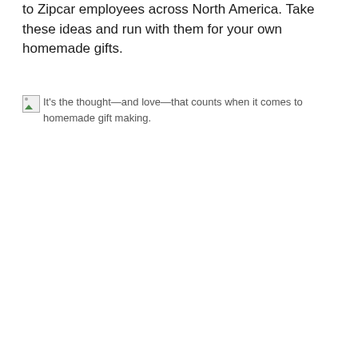to Zipcar employees across North America. Take these ideas and run with them for your own homemade gifts.
It's the thought—and love—that counts when it comes to homemade gift making.